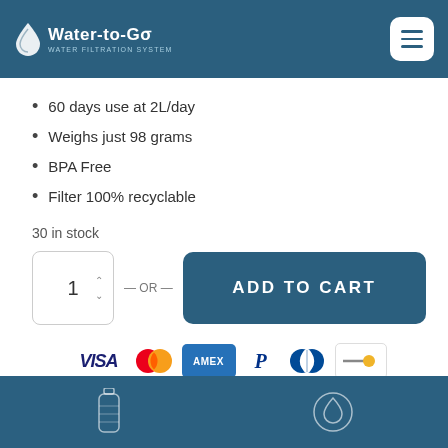Water-to-Go Water Filtration System
60 days use at 2L/day
Weighs just 98 grams
BPA Free
Filter 100% recyclable
30 in stock
1 — OR — ADD TO CART
[Figure (other): Payment method icons: Visa, Mastercard, Amex, PayPal, Diners Club, and one other payment method]